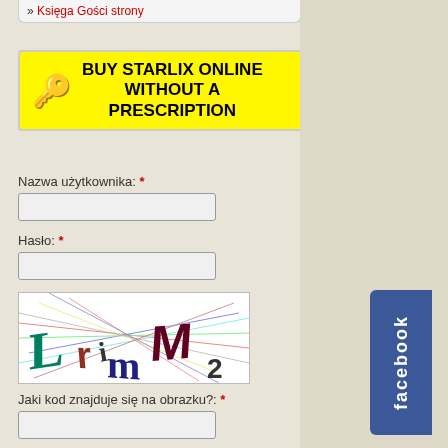» Księga Gości strony
[Figure (other): Yellow advertisement banner with key icon: BUY STARLIX ONLINE WITHOUT A PRESCRIPTION]
Nazwa użytkownika: *
Hasło: *
[Figure (other): CAPTCHA image showing distorted letters: LrimM2]
Jaki kod znajduje się na obrazku?: *
Wprowadź znaki widoczne na obrazku.
ZALOGUJ
» Utwórz nowe konto
Galerie zdjęć: Kurs żeglarski na że
Zaloguj się lub utwórz konto by ko
str